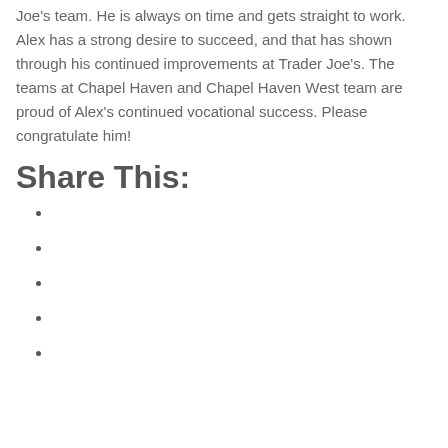Joe's team. He is always on time and gets straight to work. Alex has a strong desire to succeed, and that has shown through his continued improvements at Trader Joe's. The teams at Chapel Haven and Chapel Haven West team are proud of Alex's continued vocational success. Please congratulate him!
Share This: